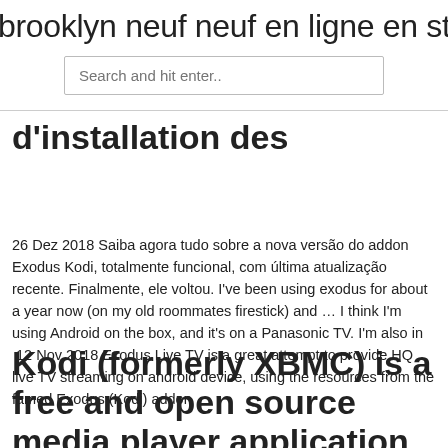brooklyn neuf neuf en ligne en stream
Search and hit enter..
d'installation des
26 Dez 2018 Saiba agora tudo sobre a nova versão do addon Exodus Kodi, totalmente funcional, com última atualização recente. Finalmente, ele voltou. I've been using exodus for about a year now (on my old roommates firestick) and … I think I'm using Android on the box, and it's on a Panasonic TV. I'm also in  12 Nov 2018 Exodus Live TV is a great attempt to provide HQ live TV streaming on android device, using the resources from the famed Exodus (Kodi) addon
Kodi (formerly XBMC) is a free and open source media player application developed by the XBMC/Kodi Foundation, a non-profit technology consortium. Kodi